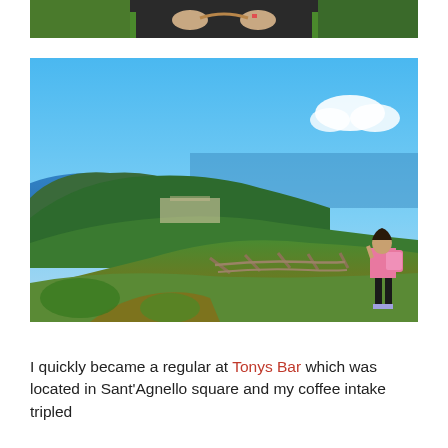[Figure (photo): Partial photo at top showing hands holding something, person wearing dark jacket with green trim, cropped view]
[Figure (photo): Panoramic landscape photo taken from a hilltop showing green hills, a coastal town, blue sea, and islands in the background. A woman in pink top and black shorts stands by a rustic wooden fence on the right side, looking at the view.]
I quickly became a regular at Tonys Bar which was located in Sant'Agnello square and my coffee intake tripled